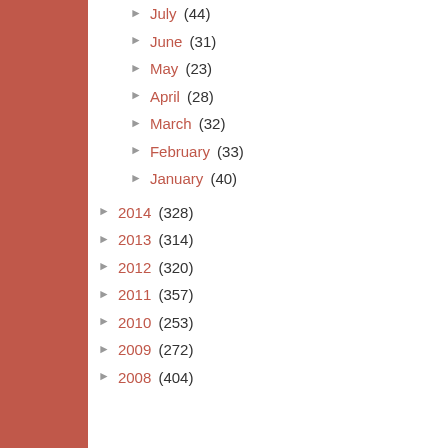► July (44)
► June (31)
► May (23)
► April (28)
► March (32)
► February (33)
► January (40)
► 2014 (328)
► 2013 (314)
► 2012 (320)
► 2011 (357)
► 2010 (253)
► 2009 (272)
► 2008 (404)